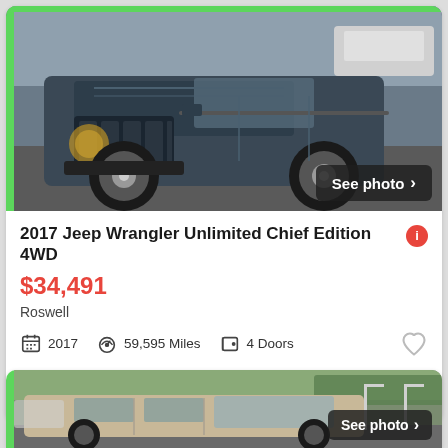[Figure (photo): 2017 Jeep Wrangler Unlimited Chief Edition 4WD in dark blue/gray, front three-quarter view in a parking lot]
2017 Jeep Wrangler Unlimited Chief Edition 4WD
$34,491
Roswell
2017  59,595 Miles  4 Doors
30+ days ago
View car
[Figure (photo): Partial view of a beige/tan Jeep Wrangler Unlimited in a dealership lot with trees in background]